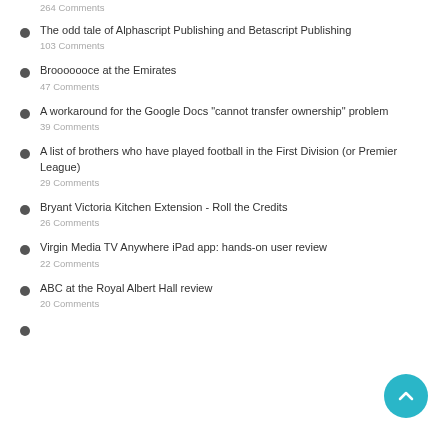264 Comments
The odd tale of Alphascript Publishing and Betascript Publishing
103 Comments
Brooooooce at the Emirates
47 Comments
A workaround for the Google Docs "cannot transfer ownership" problem
39 Comments
A list of brothers who have played football in the First Division (or Premier League)
29 Comments
Bryant Victoria Kitchen Extension - Roll the Credits
26 Comments
Virgin Media TV Anywhere iPad app: hands-on user review
22 Comments
ABC at the Royal Albert Hall review
20 Comments
Something about...